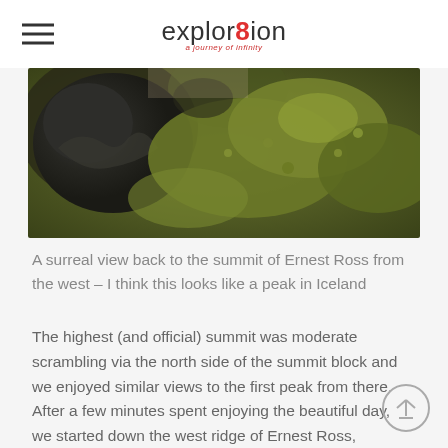explor8ion
[Figure (photo): Close-up photo of dark volcanic rocks covered in green and olive-coloured moss, resembling an Icelandic landscape. View back to summit of Ernest Ross from the west.]
A surreal view back to the summit of Ernest Ross from the west – I think this looks like a peak in Iceland
The highest (and official) summit was moderate scrambling via the north side of the summit block and we enjoyed similar views to the first peak from there. After a few minutes spent enjoying the beautiful day, we started down the west ridge of Ernest Ross, heading down towards Bridge Peak to the west.